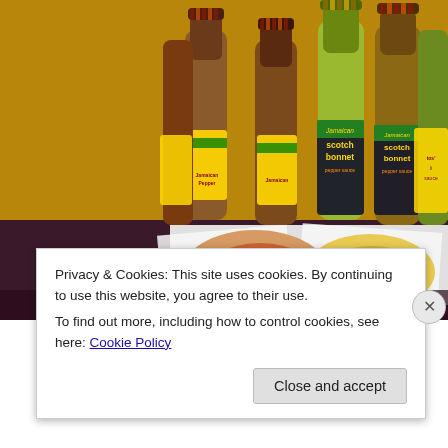[Figure (photo): Photo of multiple bottles of Jamaican hot sauce (scotch bonnet pepper sauce) with striped orange/red caps, displayed standing upright. In the foreground, two leaf-cups hold red and yellow/green sauce samples on a dark tablecloth.]
Privacy & Cookies: This site uses cookies. By continuing to use this website, you agree to their use.
To find out more, including how to control cookies, see here: Cookie Policy
Close and accept